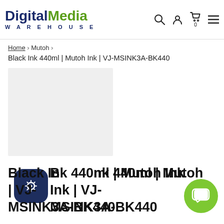[Figure (logo): Digital Media Warehouse logo with dark blue 'Digital' and green 'Media' text, 'WAREHOUSE' in spaced letters below]
Home › Mutoh ›
Black Ink 440ml | Mutoh Ink | VJ-MSINK3A-BK440
[Figure (photo): Product image placeholder — light gray rectangle]
Black Ink 440ml | Mutoh Ink | VJ-MSINK3A-BK440